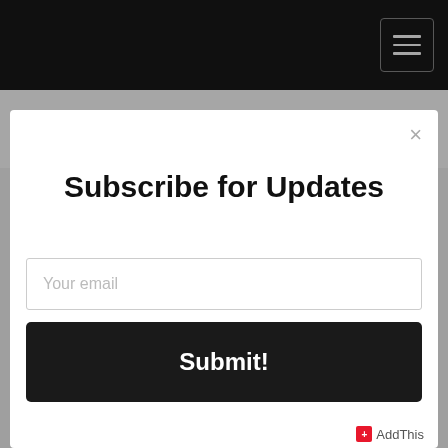Chatting with My Autistic Son (feat....
The Autism Dad Podcast
Subscribe for Updates
Your email
Submit!
AddThis